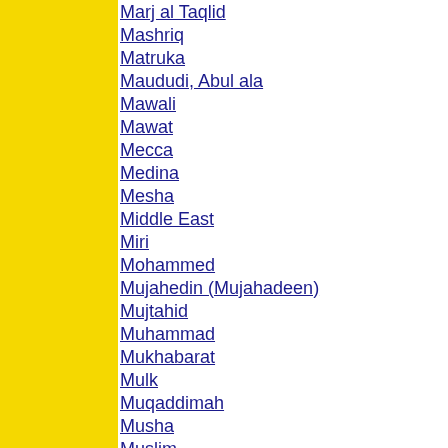Marj al Taqlid
Mashriq
Matruka
Maududi, Abul ala
Mawali
Mawat
Mecca
Medina
Mesha
Middle East
Miri
Mohammed
Mujahedin (Mujahadeen)
Mujtahid
Muhammad
Mukhabarat
Mulk
Muqaddimah
Musha
Muslim